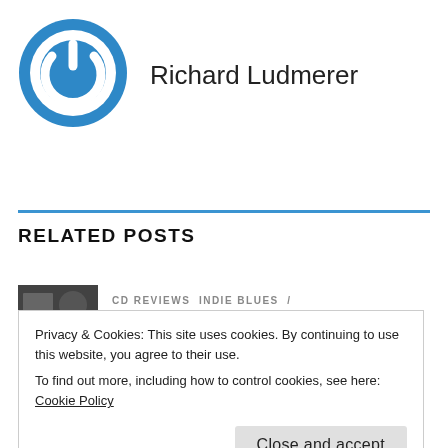[Figure (logo): Circular blue power button logo icon with white power symbol]
Richard Ludmerer
RELATED POSTS
[Figure (photo): Small thumbnail image for a related post]
CD REVIEWS INDIE BLUES /
Privacy & Cookies: This site uses cookies. By continuing to use this website, you agree to their use.
To find out more, including how to control cookies, see here: Cookie Policy
Close and accept
[Figure (photo): Small thumbnail image for another related post]